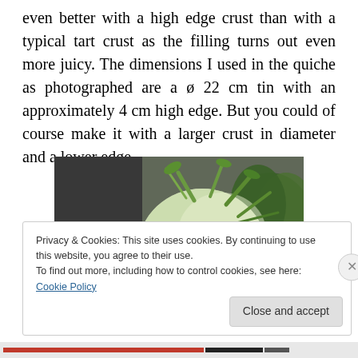even better with a high edge crust than with a typical tart crust as the filling turns out even more juicy. The dimensions I used in the quiche as photographed are a ø 22 cm tin with an approximately 4 cm high edge. But you could of course make it with a larger crust in diameter and a lower edge.
[Figure (photo): Photo of vegetables on a wooden cutting board: a kohlrabi (white/green) with stems, an onion, garlic, and herbs/greens in the background]
Privacy & Cookies: This site uses cookies. By continuing to use this website, you agree to their use.
To find out more, including how to control cookies, see here: Cookie Policy
Close and accept